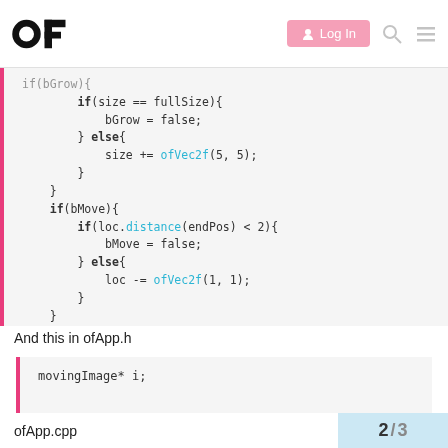OF logo | Log In button | search icon | menu icon
[Figure (screenshot): Code block showing C++ code with if/else for size and bMove logic, with ofVec2f and distance function calls highlighted in blue]
And this in ofApp.h
[Figure (screenshot): Code block showing: movingImage* i;]
ofApp.cpp
2 / 3